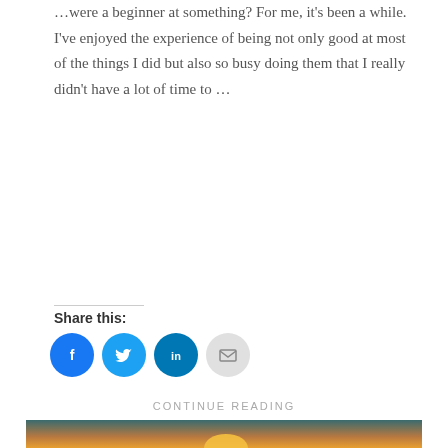…were a beginner at something? For me, it's been a while. I've enjoyed the experience of being not only good at most of the things I did but also so busy doing them that I really didn't have a lot of time to …
Share this:
[Figure (infographic): Social sharing buttons: Facebook (blue circle with f icon), Twitter (blue circle with bird icon), LinkedIn (blue circle with in icon), Email (grey circle with envelope icon)]
CONTINUE READING
[Figure (photo): A hand silhouetted against a dramatic sunset sky with orange and teal clouds, appearing to hold the sun between fingers.]